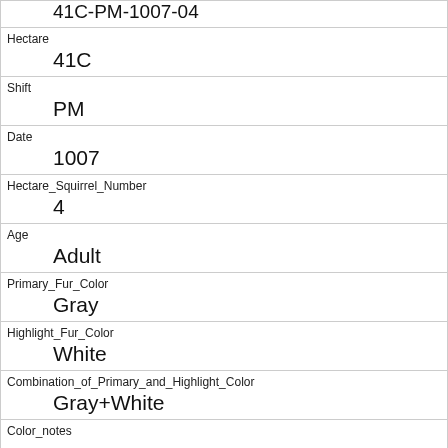| 41C-PM-1007-04 |
| Hectare | 41C |
| Shift | PM |
| Date | 1007 |
| Hectare_Squirrel_Number | 4 |
| Age | Adult |
| Primary_Fur_Color | Gray |
| Highlight_Fur_Color | White |
| Combination_of_Primary_and_Highlight_Color | Gray+White |
| Color_notes |  |
| Location | Above Ground |